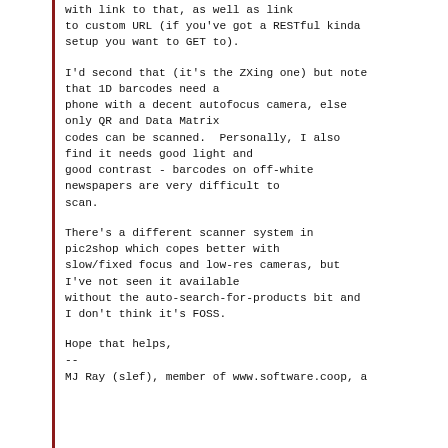with link to that, as well as link to custom URL (if you've got a RESTful kinda setup you want to GET to).
I'd second that (it's the ZXing one) but note that 1D barcodes need a phone with a decent autofocus camera, else only QR and Data Matrix codes can be scanned.  Personally, I also find it needs good light and good contrast - barcodes on off-white newspapers are very difficult to scan.
There's a different scanner system in pic2shop which copes better with slow/fixed focus and low-res cameras, but I've not seen it available without the auto-search-for-products bit and I don't think it's FOSS.
Hope that helps,
--
MJ Ray (slef), member of www.software.coop, a